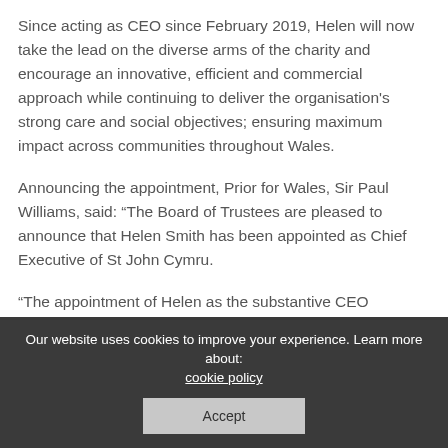Since acting as CEO since February 2019, Helen will now take the lead on the diverse arms of the charity and encourage an innovative, efficient and commercial approach while continuing to deliver the organisation's strong care and social objectives; ensuring maximum impact across communities throughout Wales.
Announcing the appointment, Prior for Wales, Sir Paul Williams, said: “The Board of Trustees are pleased to announce that Helen Smith has been appointed as Chief Executive of St John Cymru.
“The appointment of Helen as the substantive CEO represents a major step forward, ensuring commitment and strong leadership vital to further develop St John Cymru and the key services we provide to people across Wales.
Our website uses cookies to improve your experience. Learn more about: cookie policy
Accept